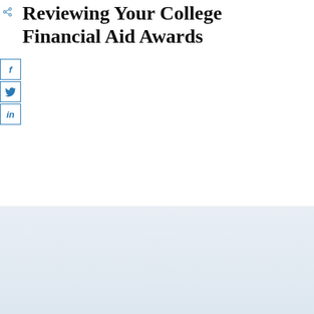Reviewing Your College Financial Aid Awards
[Figure (other): Social share icon (arrow pointing outward) and social media sharing buttons for Facebook (f), Twitter (bird icon), and LinkedIn (in)]
Subscribe to our newsletter now!
Name